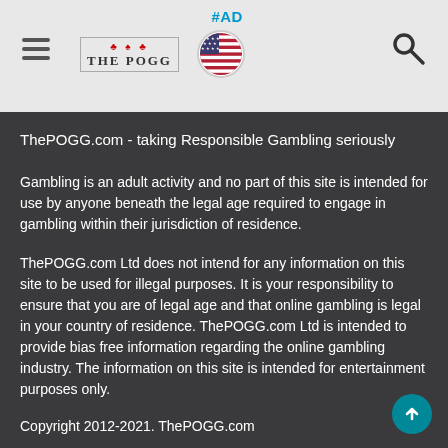#AD
[Figure (logo): THE POGG casino review site logo with card suit symbols, US flag circle icon, hamburger menu, and search icon in a light grey navigation bar]
ThePOGG.com - taking Responsible Gambling seriously
Gambling is an adult activity and no part of this site is intended for use by anyone beneath the legal age required to engage in gambling within their jurisdiction of residence.
ThePOGG.com Ltd does not intend for any information on this site to be used for illegal purposes. It is your responsibility to ensure that you are of legal age and that online gambling is legal in your country of residence. ThePOGG.com Ltd is intended to provide bias free information regarding the online gambling industry. The information on this site is intended for entertainment purposes only.
Copyright 2012-2021. ThePOGG.com